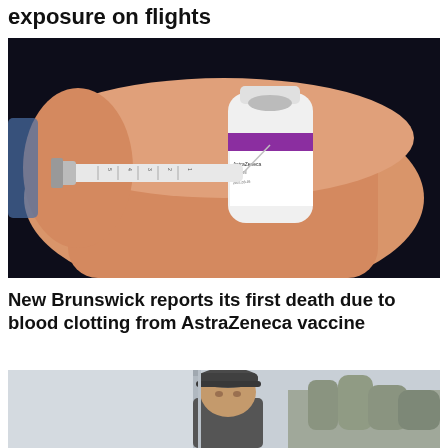exposure on flights
[Figure (photo): Close-up photo of a hand holding a syringe inserted into an AstraZeneca vaccine vial (5 ml), with Asian-language labeling visible on the vial.]
New Brunswick reports its first death due to blood clotting from AstraZeneca vaccine
[Figure (photo): Partial photo of a man wearing a dark cap, standing outdoors with trees visible in the background on an overcast day.]